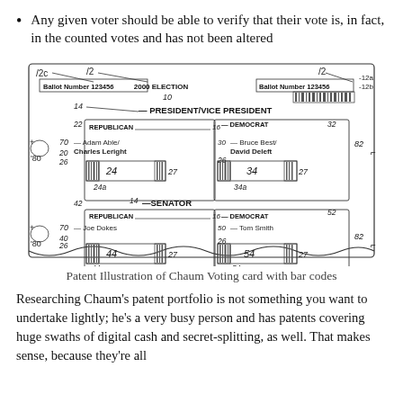Any given voter should be able to verify that their vote is, in fact, in the counted votes and has not been altered
[Figure (engineering-diagram): Patent illustration of Chaum Voting card with bar codes showing a ballot with Ballot Number 123456, 2000 ELECTION, with sections for PRESIDENT/VICE PRESIDENT and SENATOR showing Republican and Democrat candidates (Adam Able/Charles Leright, Bruce Best/David Deleft, Joe Dokes, Tom Smith) with barcodes and reference numbers 12, 12a, 12b, 12c, 14, 16, 20, 22, 24, 24a, 26, 27, 30, 32, 34, 34a, 40, 42, 44, 44a, 50, 52, 54, 54a, 70, 80, 82.]
Patent Illustration of Chaum Voting card with bar codes
Researching Chaum's patent portfolio is not something you want to undertake lightly; he's a very busy person and has patents covering huge swaths of digital cash and secret-splitting, as well. That makes sense, because they're all